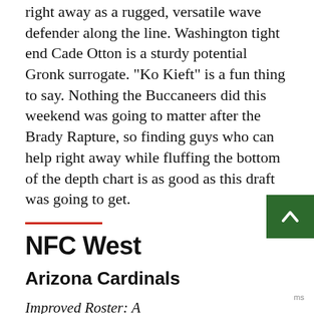right away as a rugged, versatile wave defender along the line. Washington tight end Cade Otton is a sturdy potential Gronk surrogate. "Ko Kieft" is a fun thing to say. Nothing the Buccaneers did this weekend was going to matter after the Brady Rapture, so finding guys who can help right away while fluffing the bottom of the depth chart is as good as this draft was going to get.
NFC West
Arizona Cardinals
Improved Roster: A
Used Resources Well: B+
Met Needs: D+
FINAL PPA: C+
The Cardinals are building an NFL Blitz 2022 team b...